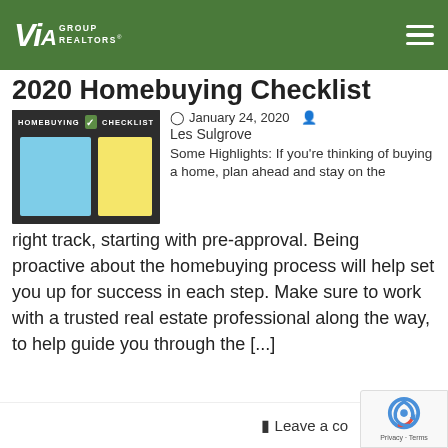VIA GROUP REALTORS
2020 Homebuying Checklist
[Figure (illustration): Homebuying Checklist thumbnail image with blue and yellow rectangular panels on dark background]
January 24, 2020  Les Sulgrove
Some Highlights: If you’re thinking of buying a home, plan ahead and stay on the right track, starting with pre-approval. Being proactive about the homebuying process will help set you up for success in each step. Make sure to work with a trusted real estate professional along the way, to help guide you through the [...]
Leave a comment